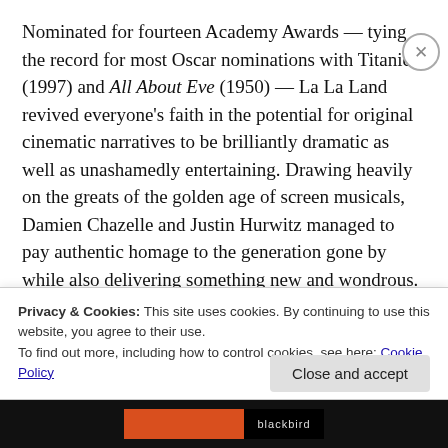Nominated for fourteen Academy Awards — tying the record for most Oscar nominations with Titanic (1997) and All About Eve (1950) — La La Land revived everyone's faith in the potential for original cinematic narratives to be brilliantly dramatic as well as unashamedly entertaining. Drawing heavily on the greats of the golden age of screen musicals, Damien Chazelle and Justin Hurwitz managed to pay authentic homage to the generation gone by while also delivering something new and wondrous. From a tap-dancing duet atop the Hollywood Hills at
Privacy & Cookies: This site uses cookies. By continuing to use this website, you agree to their use.
To find out more, including how to control cookies, see here: Cookie Policy
Close and accept